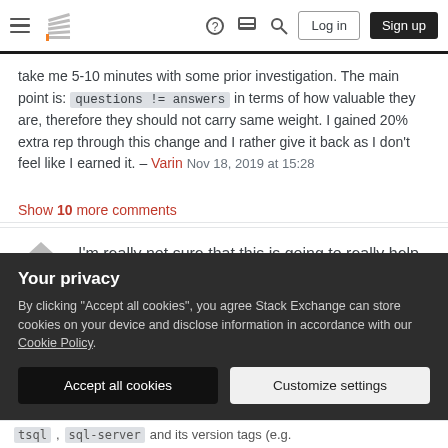Stack Exchange navigation bar with hamburger menu, logo, help, chat, search icons, Log in and Sign up buttons
take me 5-10 minutes with some prior investigation. The main point is: questions != answers in terms of how valuable they are, therefore they should not carry same weight. I gained 20% extra rep through this change and I rather give it back as I don't feel like I earned it. – Varin Nov 18, 2019 at 15:28
Show 10 more comments
I'm really not sure that this is going to really help things, if I'm honest. Something that many of us see (especially at the weekends), are a lot of low quality
Your privacy
By clicking "Accept all cookies", you agree Stack Exchange can store cookies on your device and disclose information in accordance with our Cookie Policy.
Accept all cookies
Customize settings
tsql , sql-server and its version tags (e.g.